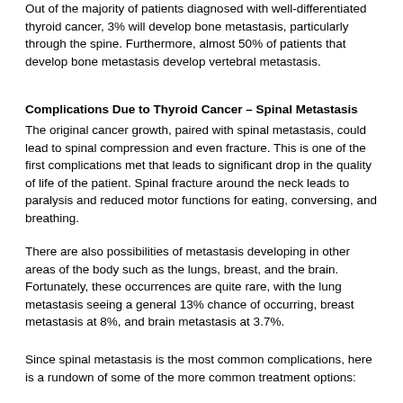Out of the majority of patients diagnosed with well-differentiated thyroid cancer, 3% will develop bone metastasis, particularly through the spine. Furthermore, almost 50% of patients that develop bone metastasis develop vertebral metastasis.
Complications Due to Thyroid Cancer – Spinal Metastasis
The original cancer growth, paired with spinal metastasis, could lead to spinal compression and even fracture. This is one of the first complications met that leads to significant drop in the quality of life of the patient. Spinal fracture around the neck leads to paralysis and reduced motor functions for eating, conversing, and breathing.
There are also possibilities of metastasis developing in other areas of the body such as the lungs, breast, and the brain. Fortunately, these occurrences are quite rare, with the lung metastasis seeing a general 13% chance of occurring, breast metastasis at 8%, and brain metastasis at 3.7%.
Since spinal metastasis is the most common complications, here is a rundown of some of the more common treatment options: